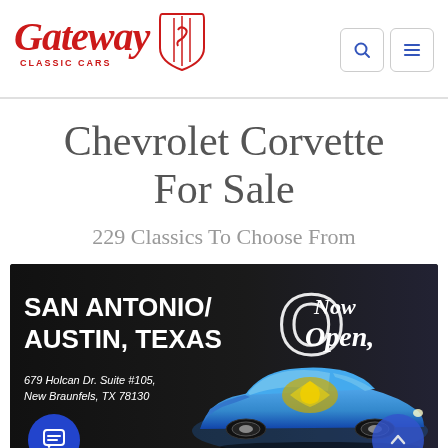Gateway Classic Cars — navigation header with logo, search icon, and menu icon
Chevrolet Corvette For Sale
229 Classics To Choose From
[Figure (photo): Promotional banner for Gateway Classic Cars San Antonio/Austin, Texas location. Text reads: SAN ANTONIO/ AUSTIN, TEXAS Now Open 679 Holcan Dr. Suite #105, New Braunfels, TX 78130. Features a blue classic car (Pontiac Firebird Trans Am) on a dark background.]